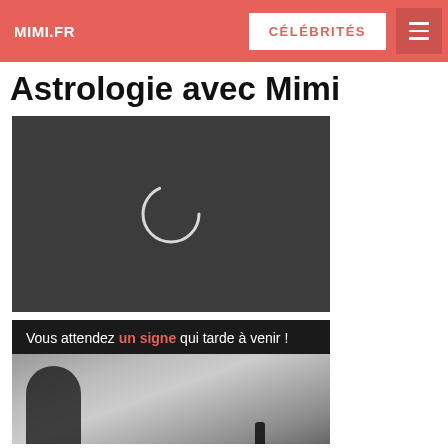MIMI.FR | CÉLÉBRITÉS
Astrologie avec Mimi
[Figure (screenshot): Dark video player with circular loading/play spinner in center on dark gray background]
[Figure (photo): Black and white promotional banner with text 'Vous attendez un signe qui tarde à venir !' and a black and white photo of a woman with hair blowing, and distant figure in background]
Vous attendez un signe qui tarde à venir !